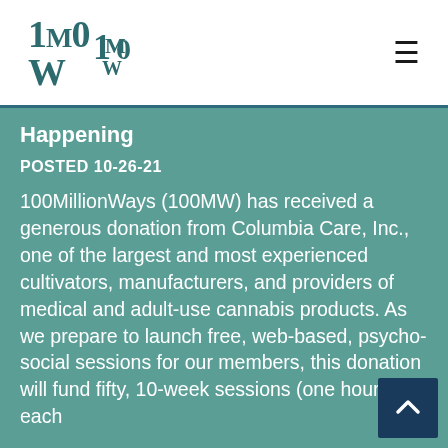100MW logo and hamburger menu
Happening
POSTED 10-26-21
100MillionWays (100MW) has received a generous donation from Columbia Care, Inc., one of the largest and most experienced cultivators, manufacturers, and providers of medical and adult-use cannabis products. As we prepare to launch free, web-based, psycho-social sessions for our members, this donation will fund fifty, 10-week sessions (one hour, each